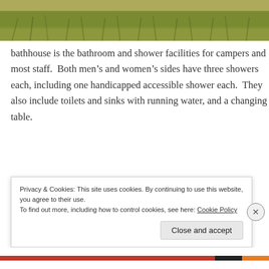[Figure (photo): Partial photo of grassy outdoor area, showing green grass and some dirt path, visible at top of page]
bathhouse is the bathroom and shower facilities for campers and most staff.  Both men’s and women’s sides have three showers each, including one handicapped accessible shower each.  They also include toilets and sinks with running water, and a changing table.
Privacy & Cookies: This site uses cookies. By continuing to use this website, you agree to their use.
To find out more, including how to control cookies, see here: Cookie Policy

Close and accept